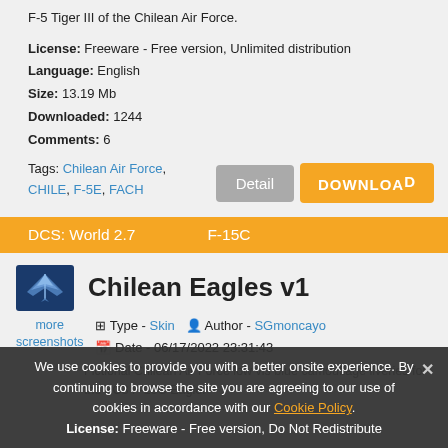F-5 Tiger III of the Chilean Air Force.
License: Freeware - Free version, Unlimited distribution
Language: English
Size: 13.19 Mb
Downloaded: 1244
Comments: 6
Tags: Chilean Air Force, CHILE, F-5E, FACH
DCS: World 2.7    F-15C
Chilean Eagles v1
more screenshots
Type - Skin   Author - SGmoncayo
Date - 06/17/2022 23:31:43
Fictional Chilean Air Force low vis blue camouflage liveries for the FC3 F-15C Eagle.
We use cookies to provide you with a better onsite experience. By continuing to browse the site you are agreeing to our use of cookies in accordance with our Cookie Policy.
License: Freeware - Free version, Do Not Redistribute